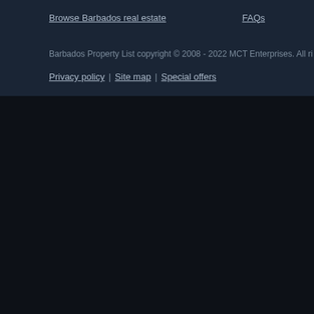Browse Barbados real estate | FAQs
Barbados Property List copyright © 2008 - 2022 MCT Enterprises. All rights reserved.
Privacy policy | Site map | Special offers